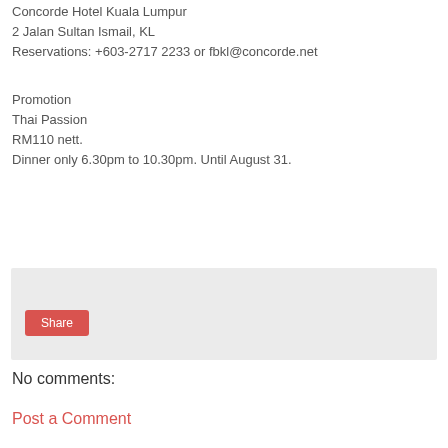Concorde Hotel Kuala Lumpur
2 Jalan Sultan Ismail, KL
Reservations: +603-2717 2233 or fbkl@concorde.net
Promotion
Thai Passion
RM110 nett.
Dinner only 6.30pm to 10.30pm. Until August 31.
Share
No comments:
Post a Comment